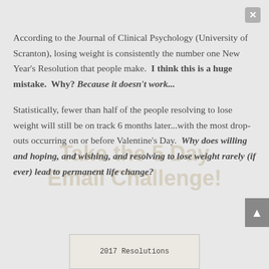According to the Journal of Clinical Psychology (University of Scranton), losing weight is consistently the number one New Year's Resolution that people make.  I think this is a huge mistake.  Why? Because it doesn't work...
Statistically, fewer than half of the people resolving to lose weight will still be on track 6 months later...with the most drop-outs occurring on or before Valentine's Day.  Why does willing and hoping, and wishing, and resolving to lose weight rarely (if ever) lead to permanent life change?
[Figure (photo): Partial view of a handwritten note reading '2017 Resolutions' at the bottom of the page]